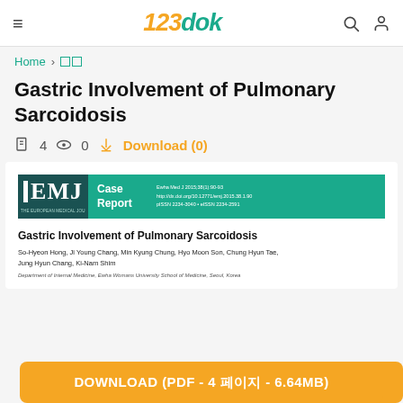123dok — navigation bar with hamburger menu, logo, search and user icons
Home > 의학
Gastric Involvement of Pulmonary Sarcoidosis
4 pages · 0 views · Download (0)
[Figure (screenshot): Preview of EMJ (European Medical Journal) Case Report titled 'Gastric Involvement of Pulmonary Sarcoidosis' by So-Hyeon Hong, Ji Young Chang, Min Kyung Chung, Hyo Moon Son, Chung Hyun Tae, Jung Hyun Chang, Ki-Nam Shim. Department of Internal Medicine, Ewha Womans University School of Medicine, Seoul, Korea. Ewha Med J 2015;38(1):90-93.]
DOWNLOAD (PDF - 4 페이지 - 6.64MB)